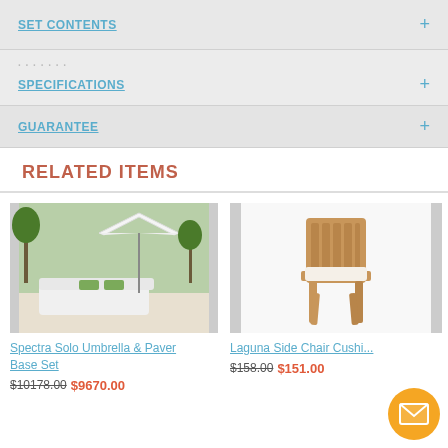SET CONTENTS
SPECIFICATIONS
GUARANTEE
RELATED ITEMS
[Figure (photo): Spectra Solo Umbrella & Paver Base Set — outdoor sectional sofa with white cushions and large white umbrella over patio pavers]
Spectra Solo Umbrella & Paver Base Set
$10178.00 $9670.00
[Figure (photo): Laguna Side Chair Cushion — teak dining side chair with white cushion]
Laguna Side Chair Cushi...
$158.00 $151.00